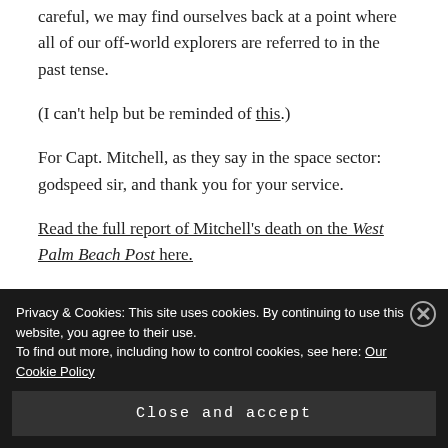careful, we may find ourselves back at a point where all of our off-world explorers are referred to in the past tense.
(I can't help but be reminded of this.)
For Capt. Mitchell, as they say in the space sector: godspeed sir, and thank you for your service.
Read the full report of Mitchell's death on the West Palm Beach Post here.
[Figure (photo): Partial view of a dark/grey image strip at the bottom of the article content area]
Privacy & Cookies: This site uses cookies. By continuing to use this website, you agree to their use. To find out more, including how to control cookies, see here: Our Cookie Policy
Close and accept
REPORT THIS AD